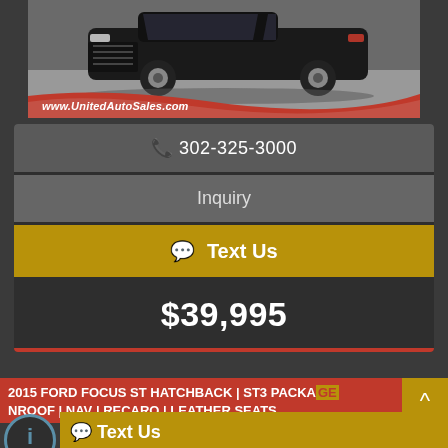[Figure (photo): Car (truck/SUV) photo from United Auto Sales, with red swoosh banner and website URL www.UnitedAutoSales.com]
302-325-3000
Inquiry
Text Us
$39,995
2015 FORD FOCUS ST HATCHBACK | ST3 PACKAGE | SUNROOF | NAV | RECARO | LEATHER SEATS
Text Us